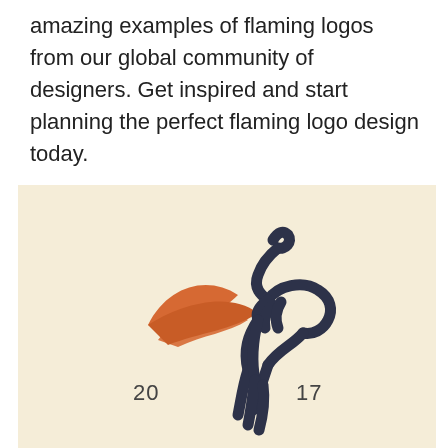amazing examples of flaming logos from our global community of designers. Get inspired and start planning the perfect flaming logo design today.
[Figure (illustration): A stylized lion logo with an orange flame/wing motif on a cream/beige background. The lion is drawn in dark navy/charcoal outline style, sitting upright, with an orange flame shape behind its head/mane. The numbers '20' and '17' appear on either side at the bottom, suggesting a 2017 logo design.]